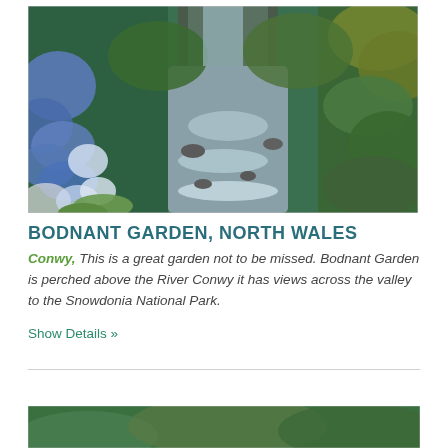[Figure (photo): Garden scene with blue hydrangea flowers on the left and a rocky stream flowing through lush green ferns and foliage]
BODNANT GARDEN, NORTH WALES
Conwy, This is a great garden not to be missed. Bodnant Garden is perched above the River Conwy it has views across the valley to the Snowdonia National Park.
Show Details »
[Figure (photo): Partial view of another garden photo at the bottom of the page]